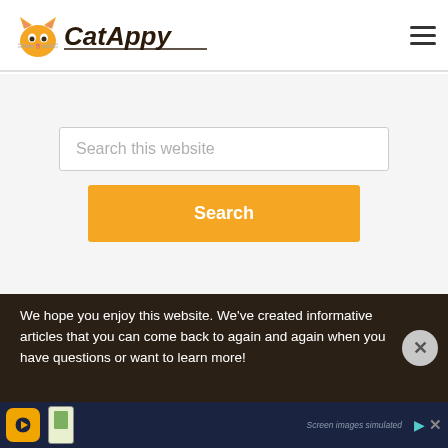CatAppy
[Figure (screenshot): Search interface with text input field showing placeholder 'Search this website' and an orange 'Search' button below it, on a light grey background]
We hope you enjoy this website. We've created informative articles that you can come back to again and again when you have questions or want to learn more!
[Figure (screenshot): Advertisement banner at bottom of page with dark blue background, showing an app icon and phone screenshot]